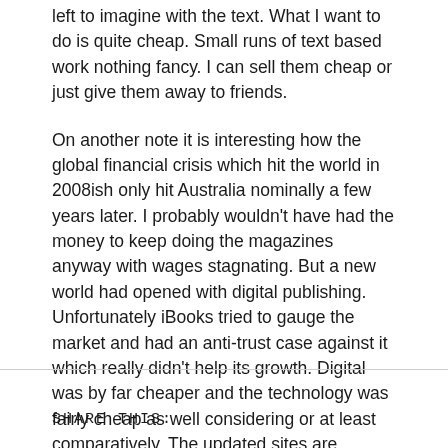left to imagine with the text. What I want to do is quite cheap. Small runs of text based work nothing fancy. I can sell them cheap or just give them away to friends.
On another note it is interesting how the global financial crisis which hit the world in 2008ish only hit Australia nominally a few years later. I probably wouldn't have had the money to keep doing the magazines anyway with wages stagnating. But a new world had opened with digital publishing. Unfortunately iBooks tried to gauge the market and had an anti-trust case against it which really didn't help its growth. Digital was by far cheaper and the technology was fairly cheap as well considering or at least comparatively. The updated sites are cleaner and I hope to have some physical copies of my book too in the next few weeks.
SHARE THIS: